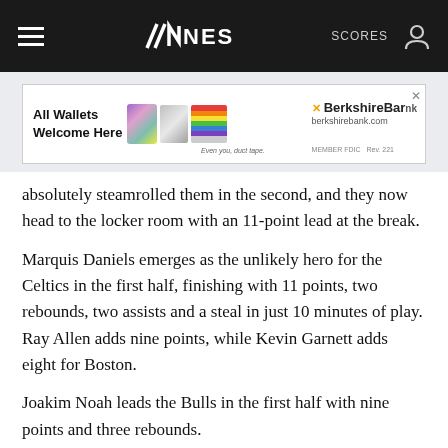NESN | SCORES
[Figure (screenshot): Berkshire Bank advertisement banner: 'All Wallets Welcome Here' with images of wallets and rainbow, Berkshire Bank logo, berkshirebank.com, MEMBER FDIC]
absolutely steamrolled them in the second, and they now head to the locker room with an 11-point lead at the break.
Marquis Daniels emerges as the unlikely hero for the Celtics in the first half, finishing with 11 points, two rebounds, two assists and a steal in just 10 minutes of play. Ray Allen adds nine points, while Kevin Garnett adds eight for Boston.
Joakim Noah leads the Bulls in the first half with nine points and three rebounds.
Second quarter, 3:19, Celtics 45-30: That might be the